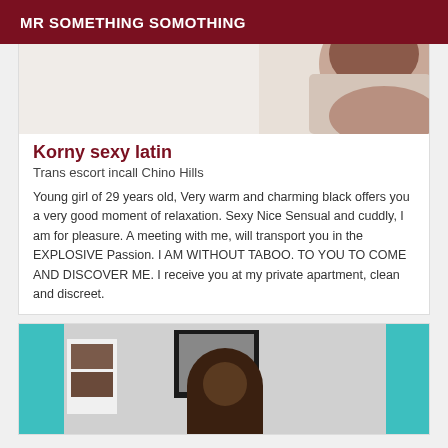MR SOMETHING SOMOTHING
[Figure (photo): Partial photo of a woman on a light background, cropped at top]
Korny sexy latin
Trans escort incall Chino Hills
Young girl of 29 years old, Very warm and charming black offers you a very good moment of relaxation. Sexy Nice Sensual and cuddly, I am for pleasure. A meeting with me, will transport you in the EXPLOSIVE Passion. I AM WITHOUT TABOO. TO YOU TO COME AND DISCOVER ME. I receive you at my private apartment, clean and discreet.
[Figure (photo): Photo of a woman standing in a room with teal walls, a framed picture on the wall, and shelving unit to the left]